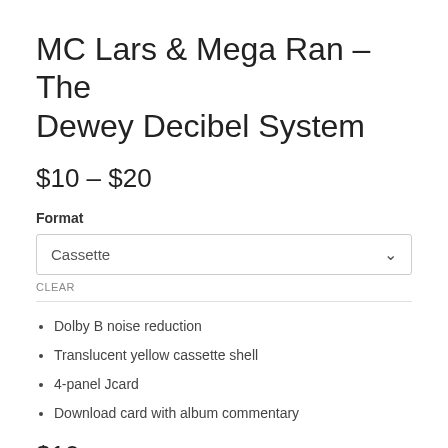MC Lars & Mega Ran – The Dewey Decibel System
$10 – $20
Format
Cassette
CLEAR
Dolby B noise reduction
Translucent yellow cassette shell
4-panel Jcard
Download card with album commentary
$10
Availability: